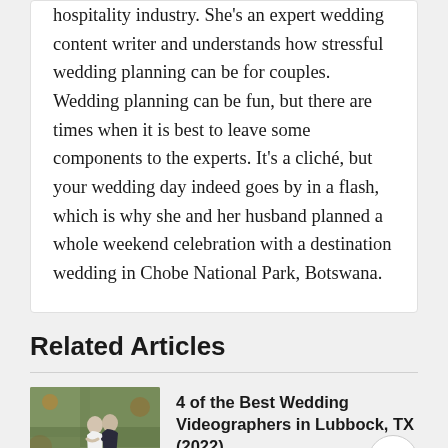hospitality industry. She's an expert wedding content writer and understands how stressful wedding planning can be for couples. Wedding planning can be fun, but there are times when it is best to leave some components to the experts. It's a cliché, but your wedding day indeed goes by in a flash, which is why she and her husband planned a whole weekend celebration with a destination wedding in Chobe National Park, Botswana.
Related Articles
[Figure (photo): Thumbnail photo of a couple embracing outdoors, woman in white dress, man in dark suit, autumn/wooded background]
4 of the Best Wedding Videographers in Lubbock, TX (2022)
By Chris 09 Aug 2022